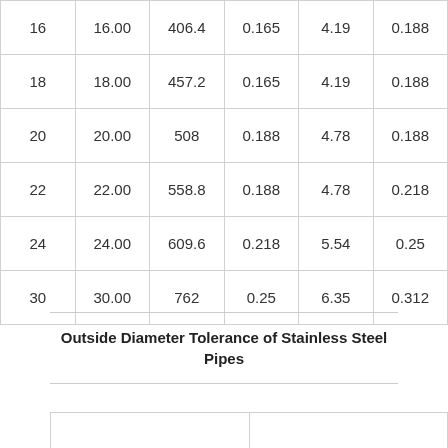| 16 | 16.00 | 406.4 | 0.165 | 4.19 | 0.188 |
| 18 | 18.00 | 457.2 | 0.165 | 4.19 | 0.188 |
| 20 | 20.00 | 508 | 0.188 | 4.78 | 0.188 |
| 22 | 22.00 | 558.8 | 0.188 | 4.78 | 0.218 |
| 24 | 24.00 | 609.6 | 0.218 | 5.54 | 0.25 |
| 30 | 30.00 | 762 | 0.25 | 6.35 | 0.312 |
Outside Diameter Tolerance of Stainless Steel Pipes
|  |  |